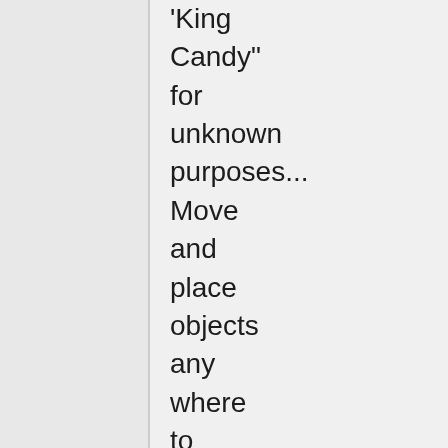'King Candy" for unknown purposes... Move and place objects any where to retrieve candy's around the level, roll giant donuts